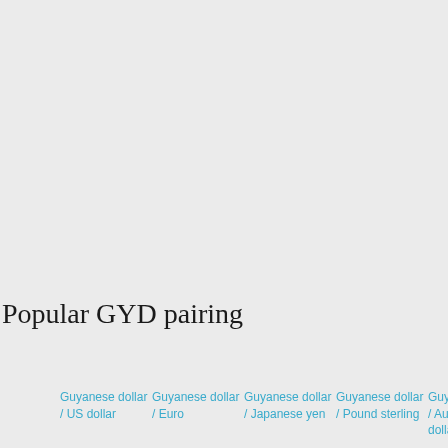Popular GYD pairing
Guyanese dollar / US dollar
Guyanese dollar / Euro
Guyanese dollar / Japanese yen
Guyanese dollar / Pound sterling
Guyanese dollar / Australian dollar